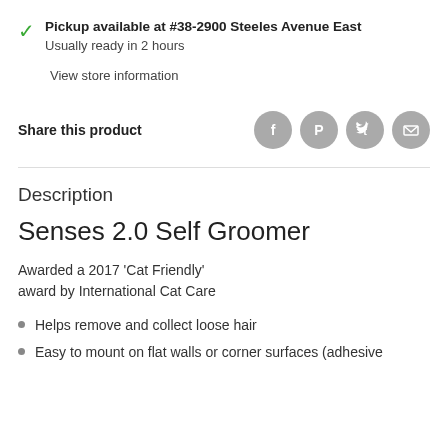Pickup available at #38-2900 Steeles Avenue East
Usually ready in 2 hours
View store information
Share this product
[Figure (infographic): Four social media sharing icons (Facebook, Pinterest, Twitter, Email) as grey circular buttons]
Description
Senses 2.0 Self Groomer
Awarded a 2017 'Cat Friendly' award by International Cat Care
Helps remove and collect loose hair
Easy to mount on flat walls or corner surfaces (adhesive